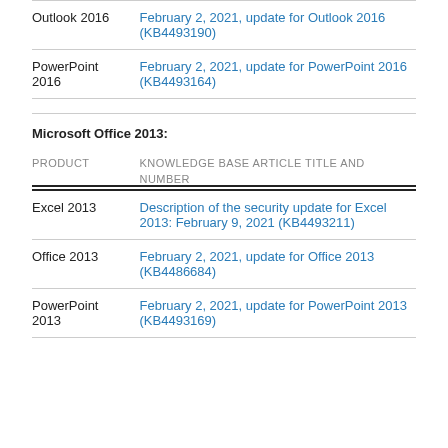| PRODUCT | KNOWLEDGE BASE ARTICLE TITLE AND NUMBER |
| --- | --- |
| Outlook 2016 | February 2, 2021, update for Outlook 2016 (KB4493190) |
| PowerPoint 2016 | February 2, 2021, update for PowerPoint 2016 (KB4493164) |
Microsoft Office 2013:
| PRODUCT | KNOWLEDGE BASE ARTICLE TITLE AND NUMBER |
| --- | --- |
| Excel 2013 | Description of the security update for Excel 2013: February 9, 2021 (KB4493211) |
| Office 2013 | February 2, 2021, update for Office 2013 (KB4486684) |
| PowerPoint 2013 | February 2, 2021, update for PowerPoint 2013 (KB4493169) |